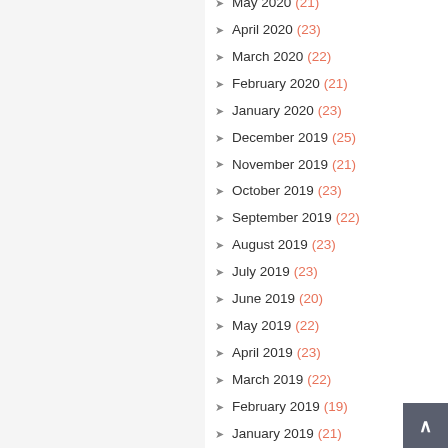May 2020 (21)
April 2020 (23)
March 2020 (22)
February 2020 (21)
January 2020 (23)
December 2019 (25)
November 2019 (21)
October 2019 (23)
September 2019 (22)
August 2019 (23)
July 2019 (23)
June 2019 (20)
May 2019 (22)
April 2019 (23)
March 2019 (22)
February 2019 (19)
January 2019 (21)